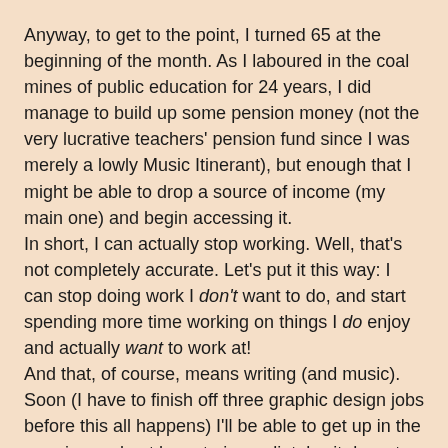Anyway, to get to the point, I turned 65 at the beginning of the month. As I laboured in the coal mines of public education for 24 years, I did manage to build up some pension money (not the very lucrative teachers' pension fund since I was merely a lowly Music Itinerant), but enough that I might be able to drop a source of income (my main one) and begin accessing it.
In short, I can actually stop working. Well, that's not completely accurate. Let's put it this way: I can stop doing work I don't want to do, and start spending more time working on things I do enjoy and actually want to work at!
And that, of course, means writing (and music).
Soon (I have to finish off three graphic design jobs before this all happens) I'll be able to get up in the morning and not have to immediately sit down to field emails from clients, which invariably leads to getting right to work on their jobs, quite often with a gun to my head because a deadline has been announced. Believe me, that's no fun.